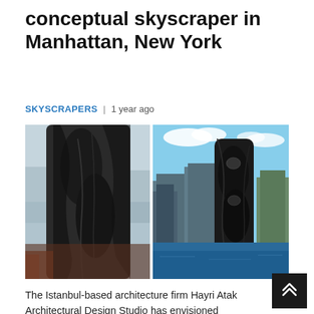conceptual skyscraper in Manhattan, New York
SKYSCRAPERS | 1 year ago
[Figure (photo): Two architectural renders of the Sarcostyle conceptual skyscraper. Left image shows a close-up of the dark sculptural building facade from above. Right image shows the building among Manhattan skyline near the waterfront under a partly cloudy sky.]
The Istanbul-based architecture firm Hayri Atak Architectural Design Studio has envisioned Sarcostyle, a 210 meters skyscraper concept in Manhattan, New York.